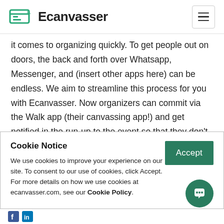Ecanvasser
it comes to organizing quickly. To get people out on doors, the back and forth over Whatsapp, Messenger, and (insert other apps here) can be endless. We aim to streamline this process for you with Ecanvasser. Now organizers can commit via the Walk app (their canvassing app!) and get notified in the run-up to the event so that they don't forget. By building it into the door knocking process life has gotten a lot easier for
Cookie Notice
We use cookies to improve your experience on our site. To consent to our use of cookies, click Accept. For more details on how we use cookies at ecanvasser.com, see our Cookie Policy.